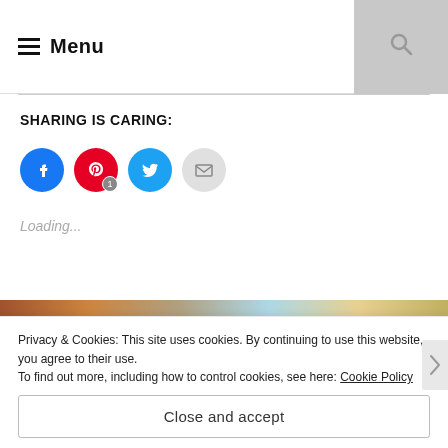Menu
SHARING IS CARING:
[Figure (infographic): Row of four social share buttons: Facebook (blue circle), Pinterest (red circle with badge '1'), Twitter (cyan circle), Email (gray circle)]
Loading...
Privacy & Cookies: This site uses cookies. By continuing to use this website, you agree to their use.
To find out more, including how to control cookies, see here: Cookie Policy
Close and accept